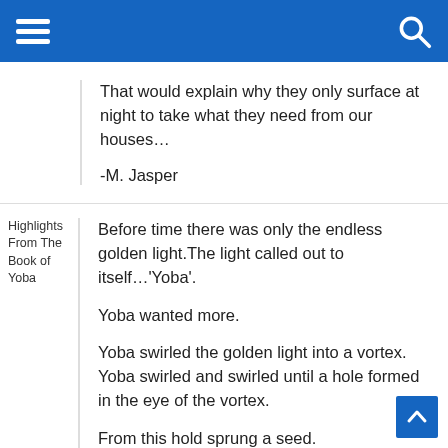That would explain why they only surface at night to take what they need from our houses…

-M. Jasper
Highlights From The Book of Yoba
Before time there was only the endless golden light.The light called out to itself…'Yoba'.

Yoba wanted more.

Yoba swirled the golden light into a vortex. Yoba swirled and swirled until a hole formed in the eye of the vortex.

From this hold sprung a seed.